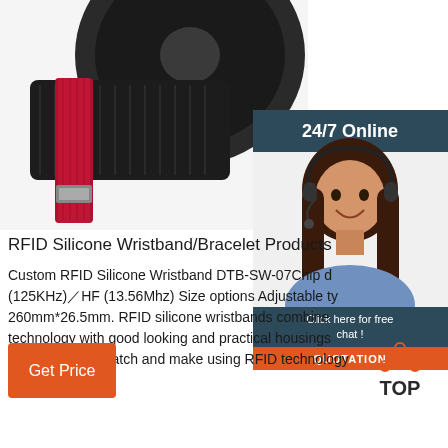[Figure (photo): RFID silicone wristband product photo showing a dark wristband with red velcro strap and a round black disc/sensor, partially cropped at top]
[Figure (photo): 24/7 Online customer service representative - woman with headset smiling, with dark teal header bar showing '24/7 Online', and orange 'QUOTATION' button and 'Click here for free chat!' text]
RFID Silicone Wristband/Bracelet Products
Custom RFID Silicone Wristband DTB-SW-07Chip d (125KHz)／HF (13.56Mhz) Size options Adjustable ty 260mm*26.5mm. RFID silicone wristbands combine technology with good looking and practical housings used as a wristwatch and make using RFID technology easy.
[Figure (illustration): Orange 'Get Price' button on left side]
[Figure (logo): TOP logo with orange dots arranged in a triangle shape above the word TOP in dark text]